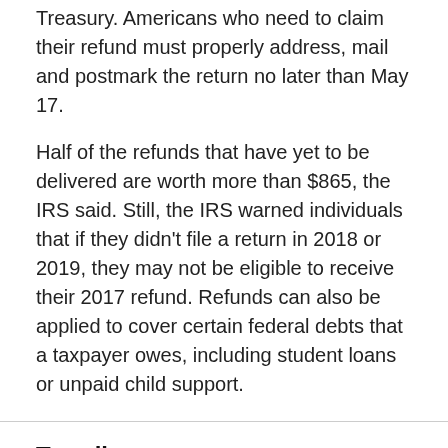Treasury. Americans who need to claim their refund must properly address, mail and postmark the return no later than May 17.
Half of the refunds that have yet to be delivered are worth more than $865, the IRS said. Still, the IRS warned individuals that if they didn't file a return in 2018 or 2019, they may not be eligible to receive their 2017 refund. Refunds can also be applied to cover certain federal debts that a taxpayer owes, including student loans or unpaid child support.
Trending
[Figure (photo): Photo of a pink/red brick building with white columns and green trees in front]
Mother recalls stopping attempted kidnapping at 'Meet the Teacher Night'